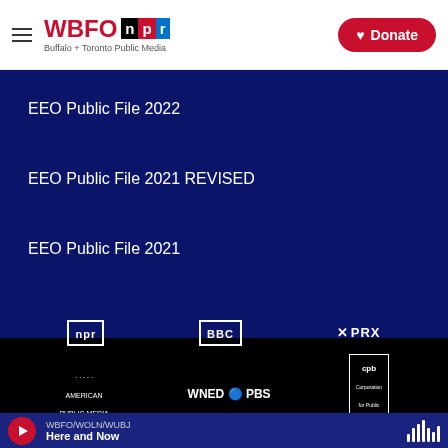WBFO npr — Buffalo + Toronto Public Media | Donate
EEO Public File 2022
EEO Public File 2021 REVISED
EEO Public File 2021
[Figure (logo): Footer logos: NPR, BBC, PRX, American Public Media, WNED PBS, CPB, Funded by Public Media]
WBFO/WOLN/WUBJ — Here and Now